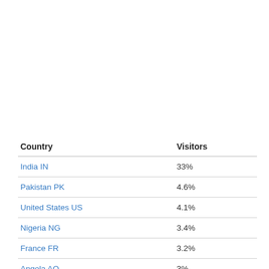| Country | Visitors |
| --- | --- |
| India IN | 33% |
| Pakistan PK | 4.6% |
| United States US | 4.1% |
| Nigeria NG | 3.4% |
| France FR | 3.2% |
| Angola AO | 3% |
| China CN | 2.6% |
| Greece GR | 2.2% |
| Iran IR | 2.1% |